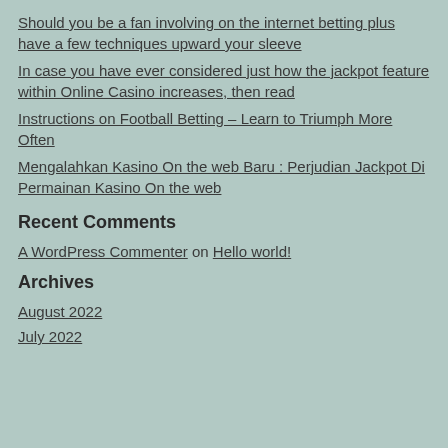Should you be a fan involving on the internet betting plus have a few techniques upward your sleeve
In case you have ever considered just how the jackpot feature within Online Casino increases, then read
Instructions on Football Betting – Learn to Triumph More Often
Mengalahkan Kasino On the web Baru : Perjudian Jackpot Di Permainan Kasino On the web
Recent Comments
A WordPress Commenter on Hello world!
Archives
August 2022
July 2022